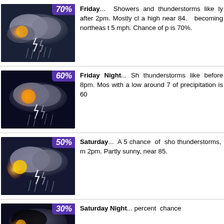[Figure (photo): Thunderstorm weather icon with 70% precipitation badge]
Friday... Showers and thunderstorms likely after 2pm. Mostly cloudy, with a high near 84. Winds becoming northeast 5 to 7 mph. Chance of precipitation is 70%.
[Figure (photo): Thunderstorm weather icon with 60% precipitation badge]
Friday Night... Showers and thunderstorms likely before 8pm. Mostly cloudy, with a low around 7. Chance of precipitation is 60.
[Figure (photo): Thunderstorm weather icon with 50% precipitation badge]
Saturday... A 50 percent chance of showers and thunderstorms, mainly before 2pm. Partly sunny, with a high near 85.
[Figure (photo): Thunderstorm weather icon with 30% precipitation badge]
Saturday Night... 30 percent chance...